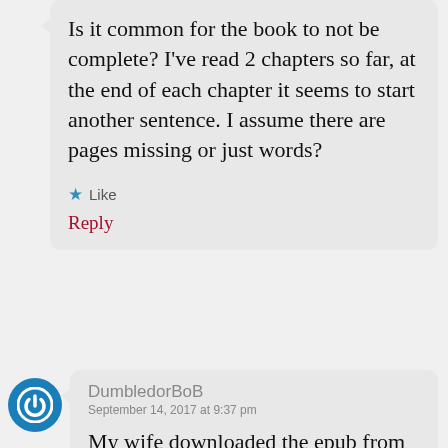Is it common for the book to not be complete? I've read 2 chapters so far, at the end of each chapter it seems to start another sentence. I assume there are pages missing or just words?
Like
Reply
DumbledorBoB
September 14, 2017 at 9:37 pm
My wife downloaded the epub from our library… on her iPad.